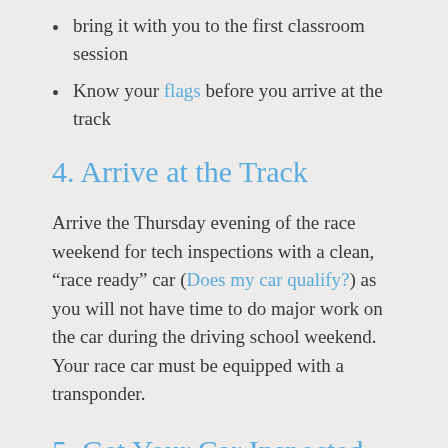bring it with you to the first classroom session
Know your flags before you arrive at the track
4. Arrive at the Track
Arrive the Thursday evening of the race weekend for tech inspections with a clean, “race ready” car (Does my car qualify?) as you will not have time to do major work on the car during the driving school weekend. Your race car must be equipped with a transponder.
5. Get Your Car Inspected